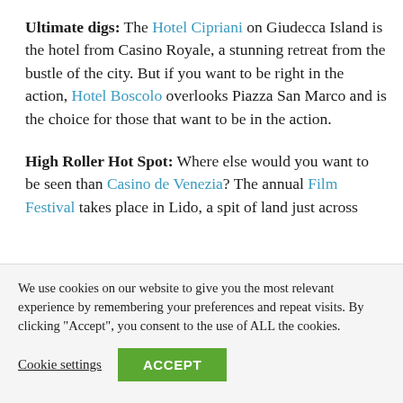Ultimate digs: The Hotel Cipriani on Giudecca Island is the hotel from Casino Royale, a stunning retreat from the bustle of the city. But if you want to be right in the action, Hotel Boscolo overlooks Piazza San Marco and is the choice for those that want to be in the action.
High Roller Hot Spot: Where else would you want to be seen than Casino de Venezia? The annual Film Festival takes place in Lido, a spit of land just across
We use cookies on our website to give you the most relevant experience by remembering your preferences and repeat visits. By clicking “Accept”, you consent to the use of ALL the cookies.
Cookie settings   ACCEPT